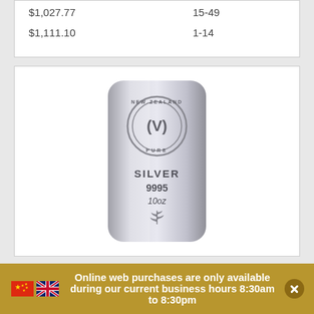| Price | Quantity |
| --- | --- |
| $1,027.77 | 15-49 |
| $1,111.10 | 1-14 |
[Figure (photo): A silver bar engraved with 'New Zealand Pure' circular logo, 'SILVER 9995 10oz' text, and a silver fern leaf motif]
Online web purchases are only available during our current business hours 8:30am to 8:30pm